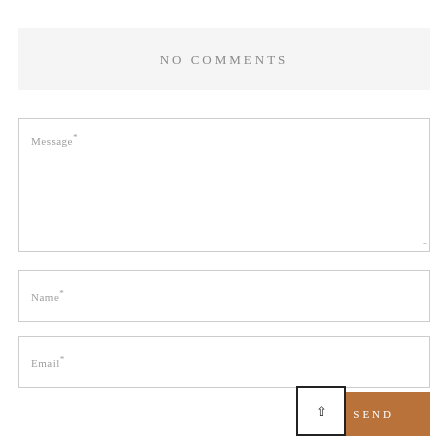NO COMMENTS
Message*
Name*
Email*
SEND